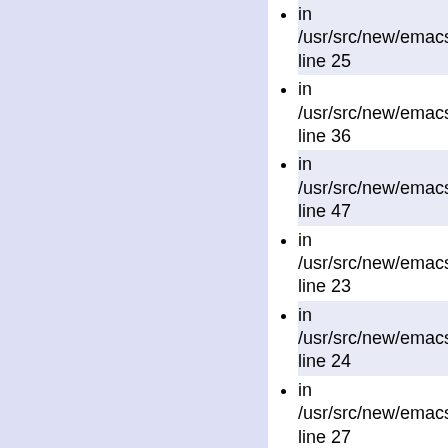in /usr/src/new/emacs/src/ line 25
in /usr/src/new/emacs/src/ line 36
in /usr/src/new/emacs/src/ line 47
in /usr/src/new/emacs/src/ line 23
in /usr/src/new/emacs/src/ line 24
in /usr/src/new/emacs/src/ line 27
in /usr/src/new/emacs/src/ line 23
in /usr/src/new/emacs/src/ line 30
in /usr/src/new/emacs/src/